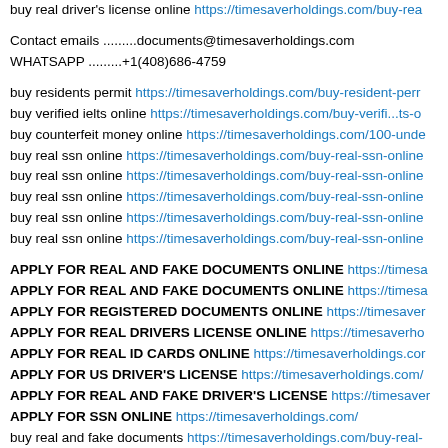buy real driver's license online https://timesaverholdings.com/buy-rea...
Contact emails .........documents@timesaverholdings.com
WHATSAPP .........+1(408)686-4759
buy residents permit https://timesaverholdings.com/buy-resident-perm...
buy verified ielts online https://timesaverholdings.com/buy-verifi...ts-o...
buy counterfeit money online https://timesaverholdings.com/100-unde...
buy real ssn online https://timesaverholdings.com/buy-real-ssn-online...
buy real ssn online https://timesaverholdings.com/buy-real-ssn-online...
buy real ssn online https://timesaverholdings.com/buy-real-ssn-online...
buy real ssn online https://timesaverholdings.com/buy-real-ssn-online...
buy real ssn online https://timesaverholdings.com/buy-real-ssn-online...
APPLY FOR REAL AND FAKE DOCUMENTS ONLINE https://timesa...
APPLY FOR REAL AND FAKE DOCUMENTS ONLINE https://timesa...
APPLY FOR REGISTERED DOCUMENTS ONLINE https://timesaver...
APPLY FOR REAL DRIVERS LICENSE ONLINE https://timesaverho...
APPLY FOR REAL ID CARDS ONLINE https://timesaverholdings.cor...
APPLY FOR US DRIVER'S LICENSE https://timesaverholdings.com/...
APPLY FOR REAL AND FAKE DRIVER'S LICENSE https://timesaver...
APPLY FOR SSN ONLINE https://timesaverholdings.com/
buy real and fake documents https://timesaverholdings.com/buy-real-...
buy real passport online https://timesaverholdings.com/buy-real-p...